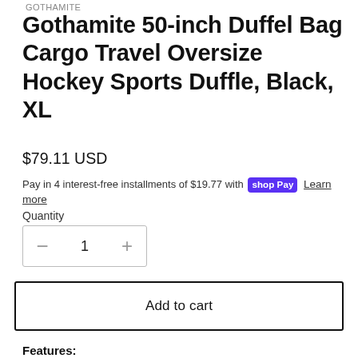GOTHAMITE
Gothamite 50-inch Duffel Bag Cargo Travel Oversize Hockey Sports Duffle, Black, XL
$79.11 USD
Pay in 4 interest-free installments of $19.77 with shop Pay  Learn more
Quantity
1
Add to cart
Features:
LARGE CAPACITY LUGGAGE BAG: Measuring at 50" x 20" x